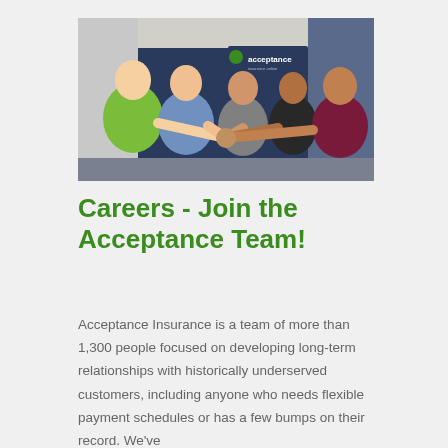[Figure (photo): Group of five people in an office setting with a navy blue wall. An 'acceptance insurance' logo sign is visible on the wall. The people are all reaching in to do a group handshake/fist bump. One person on the left wears a bright green shirt, another in a blue shirt, and others in grey, black, and burgundy tops.]
Careers - Join the Acceptance Team!
Acceptance Insurance is a team of more than 1,300 people focused on developing long-term relationships with historically underserved customers, including anyone who needs flexible payment schedules or has a few bumps on their record. We've